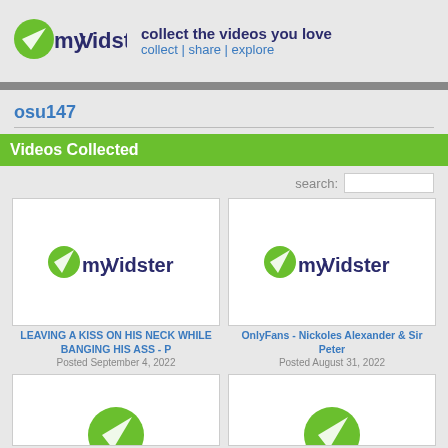[Figure (logo): myVidster logo with green leaf/checkmark icon and blue text]
collect the videos you love
collect | share | explore
osu147
Videos Collected
[Figure (screenshot): myVidster placeholder thumbnail for LEAVING A KISS ON HIS NECK WHILE BANGING HIS ASS - P]
LEAVING A KISS ON HIS NECK WHILE BANGING HIS ASS - P
Posted September 4, 2022
[Figure (screenshot): myVidster placeholder thumbnail for OnlyFans - Nickoles Alexander & Sir Peter]
OnlyFans - Nickoles Alexander & Sir Peter
Posted August 31, 2022
[Figure (screenshot): myVidster placeholder thumbnail (partial, bottom left)]
[Figure (screenshot): myVidster placeholder thumbnail (partial, bottom right)]